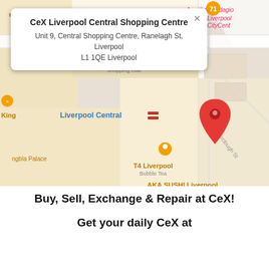[Figure (map): Google Maps screenshot showing the area around Liverpool Central station, with a red location pin marking CeX Liverpool Central Shopping Centre. Nearby landmarks shown include Starbucks Coffee, Burger King, Station Outlets Shopping mall, T4 Liverpool Bubble Tea, AKA SUSHI Liverpool, Card Factory, Bundobust, and Aparthotel Adagio Liverpool City Centre. Street label 'Fairclough St' visible. An info popup shows the store name and address.]
Buy, Sell, Exchange & Repair at CeX!
Get your daily CeX at